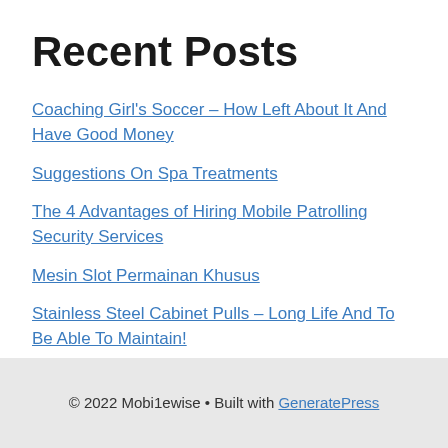Recent Posts
Coaching Girl's Soccer – How Left About It And Have Good Money
Suggestions On Spa Treatments
The 4 Advantages of Hiring Mobile Patrolling Security Services
Mesin Slot Permainan Khusus
Stainless Steel Cabinet Pulls – Long Life And To Be Able To Maintain!
© 2022 Mobi1ewise • Built with GeneratePress